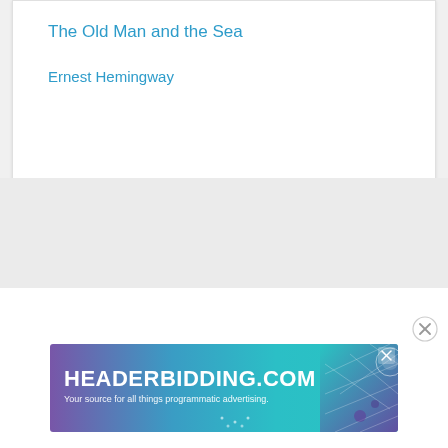The Old Man and the Sea
Ernest Hemingway
[Figure (screenshot): Advertisement banner for HEADERBIDDING.COM with tagline 'Your source for all things programmatic advertising.' on a blue-purple gradient background with decorative grid and circle elements.]